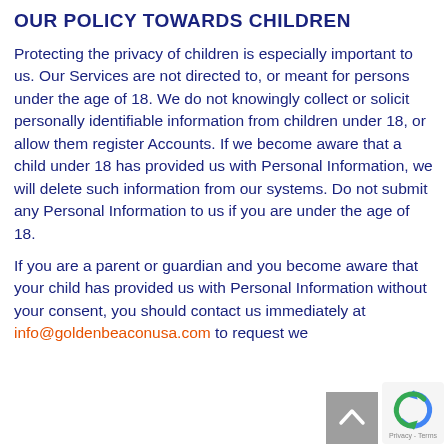OUR POLICY TOWARDS CHILDREN
Protecting the privacy of children is especially important to us. Our Services are not directed to, or meant for persons under the age of 18. We do not knowingly collect or solicit personally identifiable information from children under 18, or allow them register Accounts. If we become aware that a child under 18 has provided us with Personal Information, we will delete such information from our systems. Do not submit any Personal Information to us if you are under the age of 18.
If you are a parent or guardian and you become aware that your child has provided us with Personal Information without your consent, you should contact us immediately at info@goldenbeaconusa.com to request we